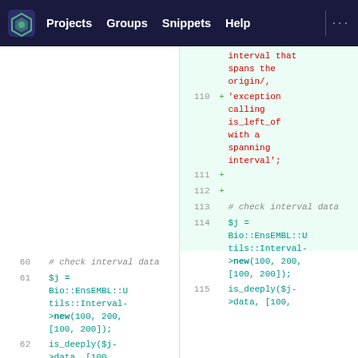[Figure (screenshot): GitLab navigation bar with logo, Projects, Groups, Snippets, Help links on dark navy background]
[Figure (screenshot): Code diff view showing two panels side by side. Right panel has green-highlighted added lines (110-112) with red text showing string about 'interval that spans the origin/', 'exception calling is_left_of with a spanning interval'; then both panels show lines 60/113 with '# check interval data', lines 61/114 with '$j = Bio::EnsEMBL::Utils::Interval->new(100, 200, [100, 200]);', and lines 62/115 with 'is_deeply($j->data, [100,']